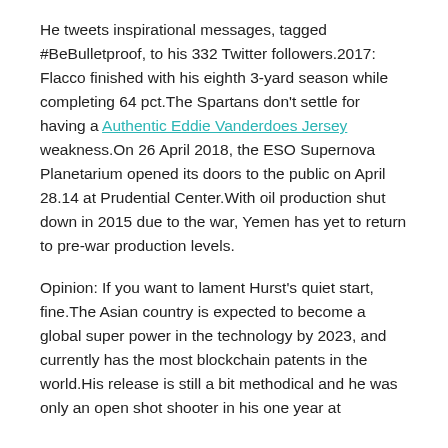He tweets inspirational messages, tagged #BeBulletproof, to his 332 Twitter followers.2017: Flacco finished with his eighth 3-yard season while completing 64 pct.The Spartans don't settle for having a Authentic Eddie Vanderdoes Jersey weakness.On 26 April 2018, the ESO Supernova Planetarium opened its doors to the public on April 28.14 at Prudential Center.With oil production shut down in 2015 due to the war, Yemen has yet to return to pre-war production levels.
Opinion: If you want to lament Hurst's quiet start, fine.The Asian country is expected to become a global super power in the technology by 2023, and currently has the most blockchain patents in the world.His release is still a bit methodical and he was only an open shot shooter in his one year at